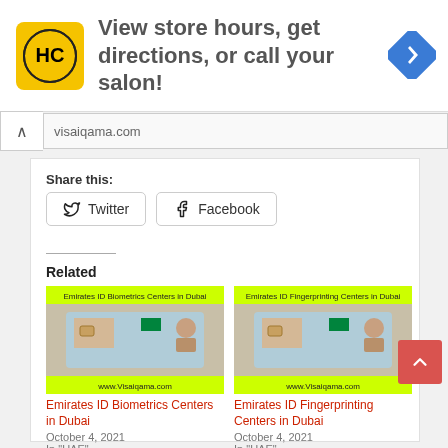[Figure (screenshot): Advertisement banner: HC Salon logo (yellow square with HC letters) and text 'View store hours, get directions, or call your salon!' with a blue navigation arrow icon on the right]
visaiqama.com
Share this:
Twitter
Facebook
Related
[Figure (screenshot): Emirates ID Biometrics Centers in Dubai - card image with yellow header and footer]
Emirates ID Biometrics Centers in Dubai
October 4, 2021
In "UAE"
[Figure (screenshot): Emirates ID Fingerprinting Centers in Dubai - card image with yellow header and footer]
Emirates ID Fingerprinting Centers in Dubai
October 4, 2021
In "UAE"